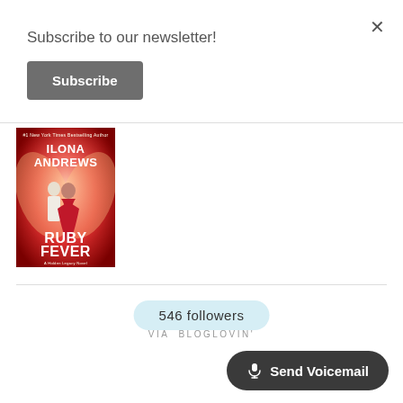Subscribe to our newsletter!
Subscribe
[Figure (illustration): Book cover for 'Ruby Fever' by Ilona Andrews. Red background with fantasy art showing two figures. Text reads: #1 New York Times Bestselling Author, ILONA ANDREWS, RUBY FEVER, A Hidden Legacy Novel.]
546 followers
VIA BLOGLOVIN'
🎤 Send Voicemail